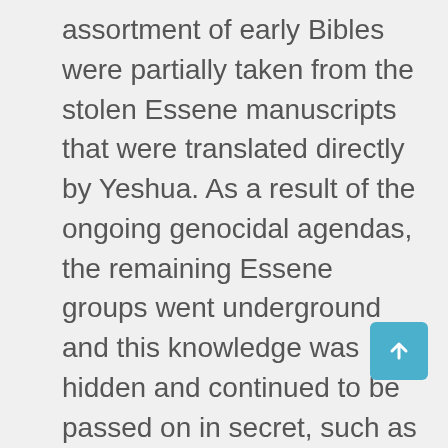assortment of early Bibles were partially taken from the stolen Essene manuscripts that were translated directly by Yeshua. As a result of the ongoing genocidal agendas, the remaining Essene groups went underground and this knowledge was hidden and continued to be passed on in secret, such as to the Cathar sects. Some of those remaining records are within the contents found in the Nag Hammadi, to which the public has only been given limited access to partial information.

The manuscripts that were in possession of the Church, were embellished with an assortment of falsities, biases, and ongoing edits as transmitted to the human scribes by Annunaki Hybrid Fallen Angelic entities, primarily from the Jehovian